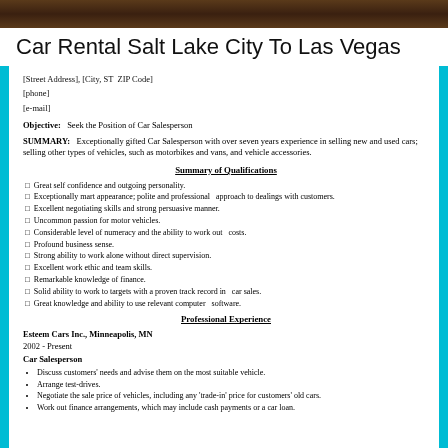[Figure (photo): Dark brown textured header image]
Car Rental Salt Lake City To Las Vegas
[Street Address], [City, ST ZIP Code]
[phone]
[e-mail]
Objective:   Seek the Position of Car Salesperson
SUMMARY:   Exceptionally gifted Car Salesperson with over seven years experience in selling new and used cars; selling other types of vehicles, such as motorbikes and vans, and vehicle accessories.
Summary of Qualifications
Great self confidence and outgoing personality.
Exceptionally mart appearance; polite and professional   approach to dealings with customers.
Excellent negotiating skills and strong persuasive manner.
Uncommon passion for motor vehicles.
Considerable level of numeracy and the ability to work out   costs.
Profound business sense.
Strong ability to work alone without direct supervision.
Excellent work ethic and team skills.
Remarkable knowledge of finance.
Solid ability to work to targets with a proven track record in   car sales.
Great knowledge and ability to use relevant computer   software.
Professional Experience
Esteem Cars Inc., Minneapolis, MN
2002 - Present
Car Salesperson
Discuss customers' needs and advise them on the most suitable vehicle.
Arrange test-drives.
Negotiate the sale price of vehicles, including any 'trade-in' price for customers' old cars.
Work out finance arrangements, which may include cash payments or a car loan.